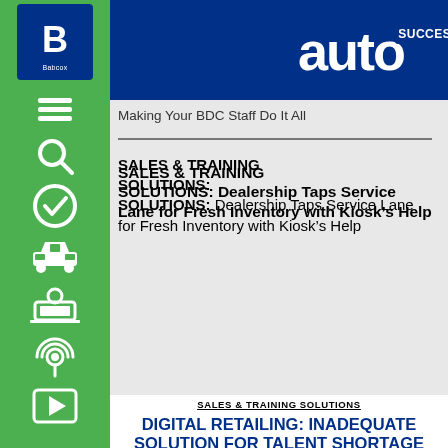[Figure (logo): Auto Success magazine logo in white on dark blue header bar]
Making Your BDC Staff Do It All
SALES & TRAINING SOLUTIONS: Dealership Taps Service Lane for Fresh Inventory with Kiosk's Help
SALES & TRAINING SOLUTIONS
DIGITAL RETAILING: INADEQUATE SOLUTION FOR TALENT SHORTAGE